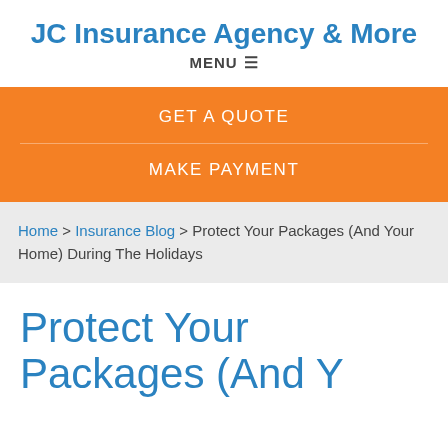JC Insurance Agency & More
MENU ☰
[Figure (screenshot): Orange banner with two call-to-action links: GET A QUOTE and MAKE PAYMENT]
Home > Insurance Blog > Protect Your Packages (And Your Home) During The Holidays
Protect Your Packages (And Your...